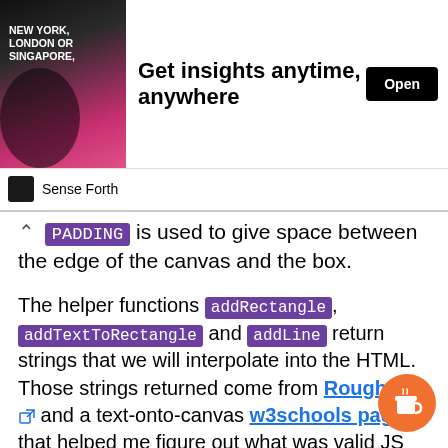[Figure (screenshot): Advertisement banner for 'Sense Forth' — shows photo of a person with text 'NEW YORK, LONDON OR SINGAPORE,' and headline 'Get insights anytime, anywhere' with an 'Open' button.]
PADDING is used to give space between the edge of the canvas and the box.
The helper functions addRectangle, addTextToRectangle and addLine return strings that we will interpolate into the HTML. Those strings returned come from RoughJS and a text-onto-canvas w3schools page that helped me figure out what was valid JS and usage of those libraries.
Finally, the generateString is the difficult part.